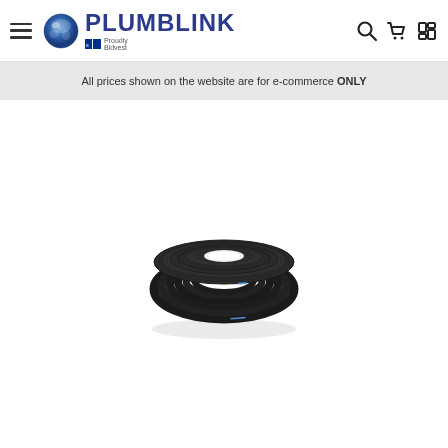PLUMBLINK — Proudly Bidvest
All prices shown on the website are for e-commerce ONLY
[Figure (photo): A coil/roll of black HDPE or polyethylene pipe with a blue stripe, photographed on a white background. The pipe is wound into a flat circular coil shape.]